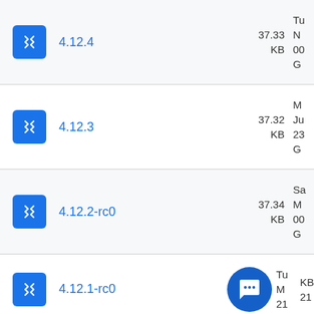4.12.4 — 37.33 KB — Tu N 00 G
4.12.3 — 37.32 KB — M Ju 23 G
4.12.2-rc0 — 37.34 KB — Sa M 00 G
4.12.1-rc0 — KB — Tu M 21